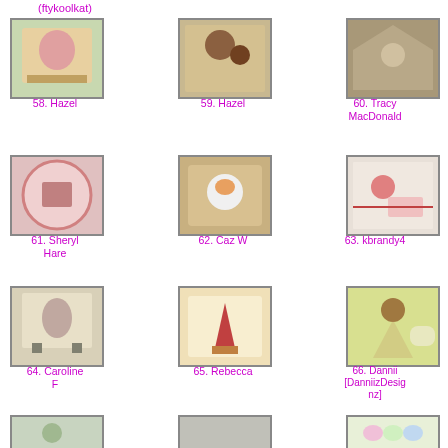[Figure (photo): Craft card image 58 by Hazel]
58. Hazel
[Figure (photo): Craft card image 59 by Hazel]
59. Hazel
[Figure (photo): Craft card image 60 by Tracy MacDonald]
60. Tracy MacDonald
[Figure (photo): Craft card image 61 by Sheryl Hare]
61. Sheryl Hare
[Figure (photo): Craft card image 62 by Caz W]
62. Caz W
[Figure (photo): Craft card image 63 by kbrandy4]
63. kbrandy4
[Figure (photo): Craft card image 64 by Caroline F]
64. Caroline F
[Figure (photo): Craft card image 65 by Rebecca]
65. Rebecca
[Figure (photo): Craft card image 66 by Dannii [DanniizDesignz]]
66. Dannii [DanniizDesignz]
[Figure (photo): Craft card image 67 (partial)]
[Figure (photo): Craft card image 68 (partial)]
[Figure (photo): Craft card image 69 (partial)]
(ftykoolkat)